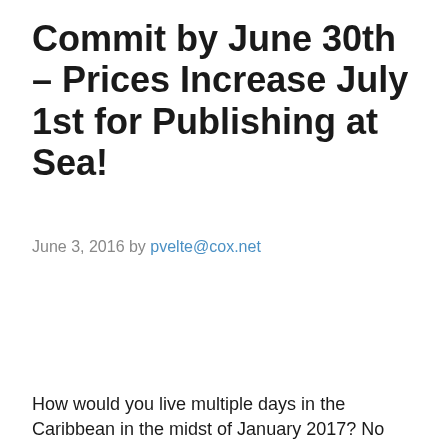Commit by June 30th – Prices Increase July 1st for Publishing at Sea!
June 3, 2016 by pvelte@cox.net
How would you live multiple days in the Caribbean in the midst of January 2017? No